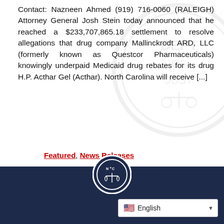Contact: Nazneen Ahmed (919) 716-0060 (RALEIGH) Attorney General Josh Stein today announced that he reached a $233,707,865.18 settlement to resolve allegations that drug company Mallinckrodt ARD, LLC (formerly known as Questcor Pharmaceuticals) knowingly underpaid Medicaid drug rebates for its drug H.P. Acthar Gel (Acthar). North Carolina will receive [...]
Featured, News Releases
Previous page 1 2 3 4 … 82 Next page
[Figure (logo): NC Department of Justice circular seal logo with scales of justice icon]
English